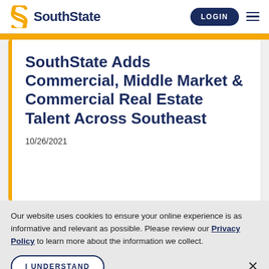SouthState | LOGIN
SouthState Adds Commercial, Middle Market & Commercial Real Estate Talent Across Southeast
10/26/2021
Our website uses cookies to ensure your online experience is as informative and relevant as possible. Please review our Privacy Policy to learn more about the information we collect.
I UNDERSTAND